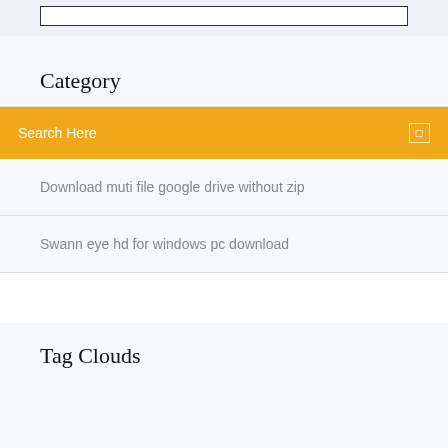[Figure (screenshot): Top bar with a search input box outline on light blue-grey background]
Category
[Figure (screenshot): Orange/amber search bar with 'Search Here' text in white and a small square icon on the right]
Download muti file google drive without zip
Swann eye hd for windows pc download
Tag Clouds